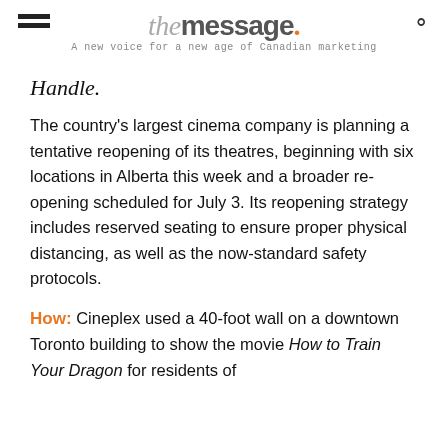the message. A new voice for a new age of Canadian marketing
Handle.
The country's largest cinema company is planning a tentative reopening of its theatres, beginning with six locations in Alberta this week and a broader re-opening scheduled for July 3. Its reopening strategy includes reserved seating to ensure proper physical distancing, as well as the now-standard safety protocols.
How: Cineplex used a 40-foot wall on a downtown Toronto building to show the movie How to Train Your Dragon for residents of